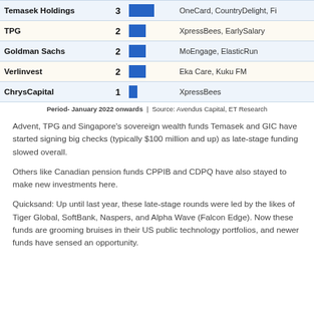| Investor | Count | Bar | Companies |
| --- | --- | --- | --- |
| Temasek Holdings | 3 |  | OneCard, CountryDelight, Fi |
| TPG | 2 |  | XpressBees, EarlySalary |
| Goldman Sachs | 2 |  | MoEngage, ElasticRun |
| Verlinvest | 2 |  | Eka Care, Kuku FM |
| ChrysCapital | 1 |  | XpressBees |
Period- January 2022 onwards  |  Source: Avendus Capital, ET Research
Advent, TPG and Singapore's sovereign wealth funds Temasek and GIC have started signing big checks (typically $100 million and up) as late-stage funding slowed overall.
Others like Canadian pension funds CPPIB and CDPQ have also stayed to make new investments here.
Quicksand: Up until last year, these late-stage rounds were led by the likes of Tiger Global, SoftBank, Naspers, and Alpha Wave (Falcon Edge). Now these funds are grooming bruises in their US public technology portfolios, and newer funds have sensed an opportunity.